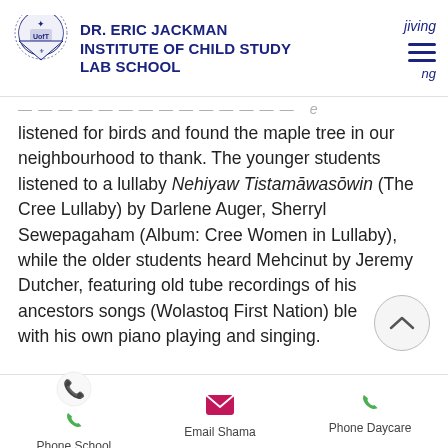DR. ERIC JACKMAN INSTITUTE OF CHILD STUDY LAB SCHOOL
listened for birds and found the maple tree in our neighbourhood to thank. The younger students listened to a lullaby Nehiyaw Tistamāwasōwin (The Cree Lullaby) by Darlene Auger, Sherryl Sewepagaham (Album: Cree Women in Lullaby), while the older students heard Mehcinut by Jeremy Dutcher, featuring old tube recordings of his ancestors songs (Wolastoq First Nation) blended with his own piano playing and singing.
Phone School   Email Shama   Phone Daycare